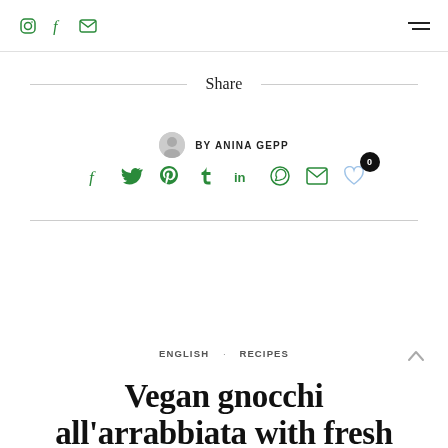social icons: instagram, facebook, email | hamburger menu
Share
BY ANINA GEPP
[Figure (infographic): Social sharing icons row: facebook, twitter, pinterest, tumblr, linkedin, whatsapp, email, heart/like with badge showing 0]
ENGLISH · RECIPES
Vegan gnocchi all'arrabbiata with fresh